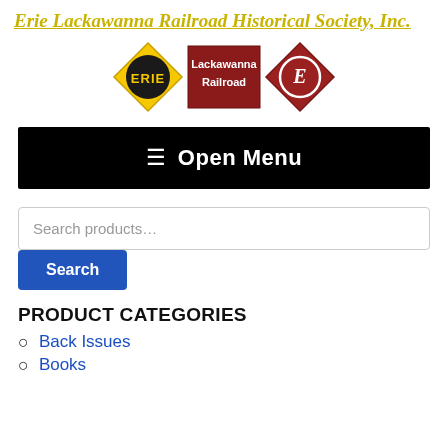Erie Lackawanna Railroad Historical Society, Inc.
[Figure (logo): Three railroad logos: Erie diamond logo (yellow), Lackawanna Railroad logo (red rectangle), and Erie Lackawanna combined diamond logo (red/maroon)]
[Figure (screenshot): Black navigation bar with hamburger menu icon and 'Open Menu' text in white]
Search products...
Search
PRODUCT CATEGORIES
Back Issues
Books